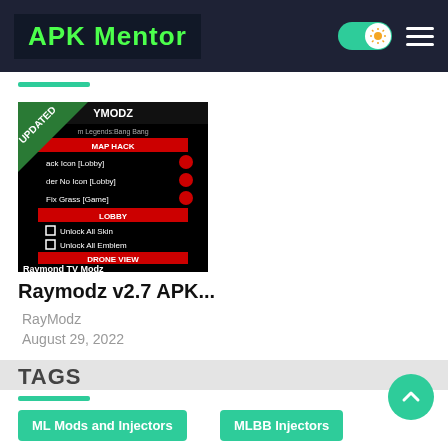APK Mentor
[Figure (screenshot): Screenshot of Raymodz v2.7 APK app interface showing YMODZ menu with map hack options, lobby options including Unlock All Skin and Unlock All Emblem, Drone View section, Raymond TV Modz branding, and APKMENTOR.NET watermark. Green diagonal UPDATED ribbon in top-left corner.]
Raymodz v2.7 APK...
RayModz
August 29, 2022
TAGS
ML Mods and Injectors
MLBB Injectors